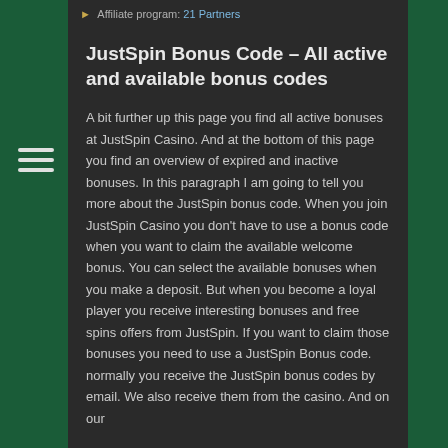Affiliate program: 21 Partners
JustSpin Bonus Code – All active and available bonus codes
A bit further up this page you find all active bonuses at JustSpin Casino. And at the bottom of this page you find an overview of expired and inactive bonuses. In this paragraph I am going to tell you more about the JustSpin bonus code. When you join JustSpin Casino you don't have to use a bonus code when you want to claim the available welcome bonus. You can select the available bonuses when you make a deposit. But when you become a loyal player you receive interesting bonuses and free spins offers from JustSpin. If you want to claim those bonuses you need to use a JustSpin Bonus code. normally you receive the JustSpin bonus codes by email. We also receive them from the casino. And on our